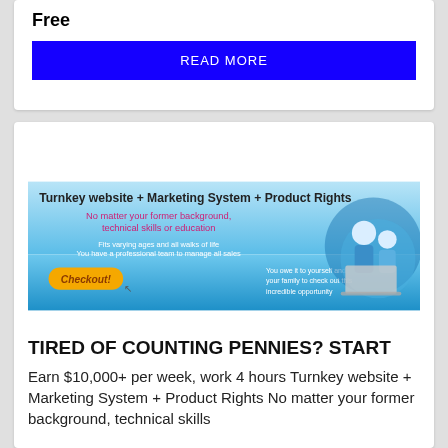Free
READ MORE
[Figure (illustration): Advertisement banner for Turnkey website + Marketing System + Product Rights. Text reads: 'No matter your former background, technical skills or education. Fits varying ages and all walks of life. You have a professional team to manage all sales. You owe it to yourself and your family to check out this incredible opportunity.' Has a yellow 'Checkout!' button and image of two people at a laptop.]
TIRED OF COUNTING PENNIES? START
Earn $10,000+ per week, work 4 hours Turnkey website + Marketing System + Product Rights No matter your former background, technical skills